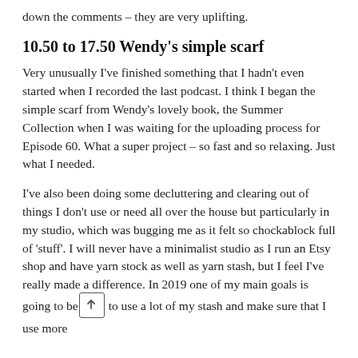down the comments – they are very uplifting.
10.50 to 17.50 Wendy's simple scarf
Very unusually I've finished something that I hadn't even started when I recorded the last podcast. I think I began the simple scarf from Wendy's lovely book, the Summer Collection when I was waiting for the uploading process for Episode 60. What a super project – so fast and so relaxing. Just what I needed.
I've also been doing some decluttering and clearing out of things I don't use or need all over the house but particularly in my studio, which was bugging me as it felt so chockablock full of 'stuff'. I will never have a minimalist studio as I run an Etsy shop and have yarn stock as well as yarn stash, but I feel I've really made a difference. In 2019 one of my main goals is going to be to use a lot of my stash and make sure that I use more